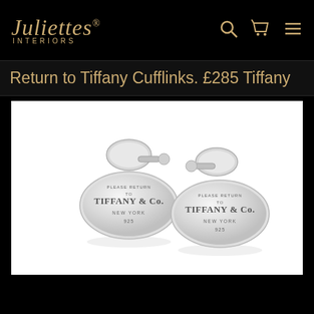Juliettes® INTERIORS
Return to Tiffany Cufflinks. £285 Tiffany
[Figure (photo): Two silver oval Tiffany & Co. Return to Tiffany cufflinks engraved with PLEASE RETURN TO TIFFANY & CO. NEW YORK 925, shown on white background]